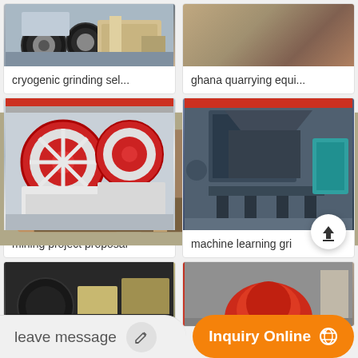[Figure (photo): Cryogenic grinding machine in a factory setting - industrial equipment with wheels and conveyor]
cryogenic grinding sel...
[Figure (photo): Ghana quarrying equipment - heavy machinery and equipment in a warehouse]
ghana quarrying equi...
[Figure (photo): Jaw crusher machines in a factory - large white and red industrial jaw crushers]
mining project proposal
[Figure (photo): Industrial grinding machine - dark colored heavy machinery in a factory hall]
machine learning gri
[Figure (photo): Industrial equipment partially visible - dark cylindrical machinery]
[Figure (photo): Industrial equipment partially visible - red machinery]
leave message
Inquiry Online